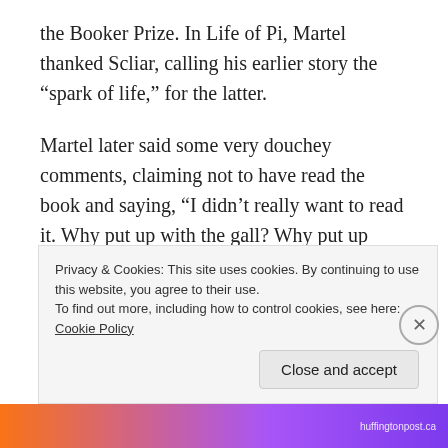the Booker Prize. In Life of Pi, Martel thanked Scliar, calling his earlier story the “spark of life,” for the latter.
Martel later said some very douchey comments, claiming not to have read the book and saying, “I didn’t really want to read it. Why put up with the gall? Why put up with a brilliant premise ruined by a lesser writer?”
Scliar and his publisher originally considered pursuing legal action but the authors were eventually able to settle their dispute without intervention from the
Privacy & Cookies: This site uses cookies. By continuing to use this website, you agree to their use.
To find out more, including how to control cookies, see here: Cookie Policy
Close and accept